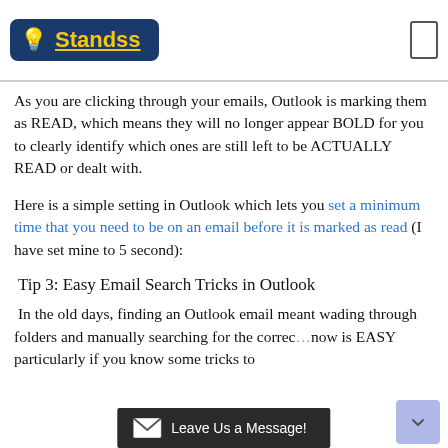Standss
As you are clicking through your emails, Outlook is marking them as READ, which means they will no longer appear BOLD for you to clearly identify which ones are still left to be ACTUALLY READ or dealt with.
Here is a simple setting in Outlook which lets you set a minimum time that you need to be on an email before it is marked as read (I have set mine to 5 second):
Tip 3: Easy Email Search Tricks in Outlook
In the old days, finding an Outlook email meant wading through folders and manually searching for the correc… now is EASY particularly if you know some tricks to